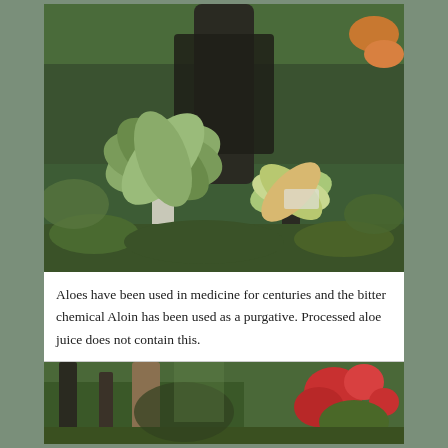[Figure (photo): A photograph of aloe plants in a garden setting, featuring tall aloe trees with rosette leaves on a white trunk, surrounded by dense green vegetation and shrubs.]
Aloes have been used in medicine for centuries and the bitter chemical Aloin has been used as a purgative. Processed aloe juice does not contain this.
[Figure (photo): A photograph of a garden scene with trees and red flowering plants visible on the right side, with a wooden post or trunk in the foreground.]